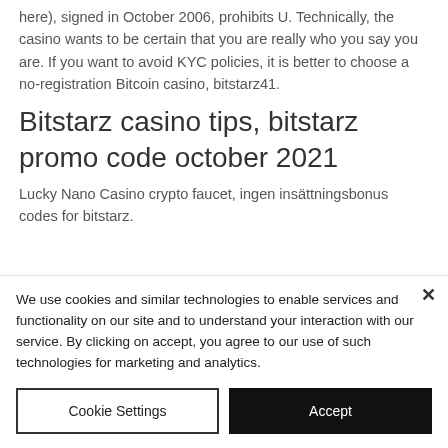here), signed in October 2006, prohibits U. Technically, the casino wants to be certain that you are really who you say you are. If you want to avoid KYC policies, it is better to choose a no-registration Bitcoin casino, bitstarz41.
Bitstarz casino tips, bitstarz promo code october 2021
Lucky Nano Casino crypto faucet, ingen insättningsbonus codes for bitstarz.
We use cookies and similar technologies to enable services and functionality on our site and to understand your interaction with our service. By clicking on accept, you agree to our use of such technologies for marketing and analytics.
Cookie Settings
Accept